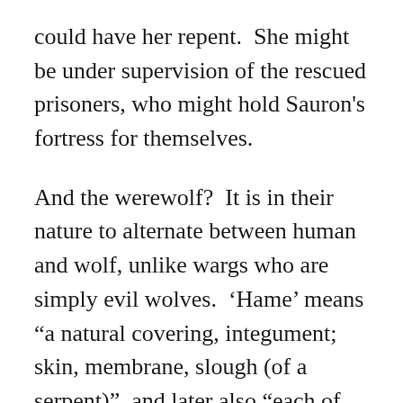could have her repent.  She might be under supervision of the rescued prisoners, who might hold Sauron's fortress for themselves.
And the werewolf?  It is in their nature to alternate between human and wolf, unlike wargs who are simply evil wolves.  ‘Hame’ means “a natural covering, integument; skin, membrane, slough (of a serpent)”, and later also “each of two curved pieces of wood or metal placed over, fastened to, or forming, the collar of a draught horse”.[C]  Whether they flayed the dead Draugluin or whether it was a garment he could put on and take off is left unclear.  So too is why the wolf and bat